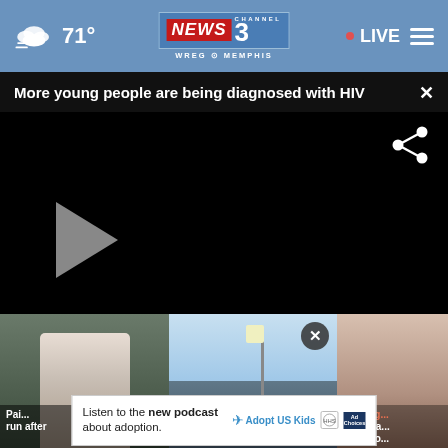71° NEWS CHANNEL 3 WREG MEMPHIS · LIVE
More young people are being diagnosed with HIV
[Figure (screenshot): Black video player screen with share icon and play button]
[Figure (screenshot): Three thumbnail images at the bottom of the video page showing news stories]
Listen to the new podcast about adoption. Adopt US Kids
Pai... run after   Memphis   DA: Arg... over ma... leads to...